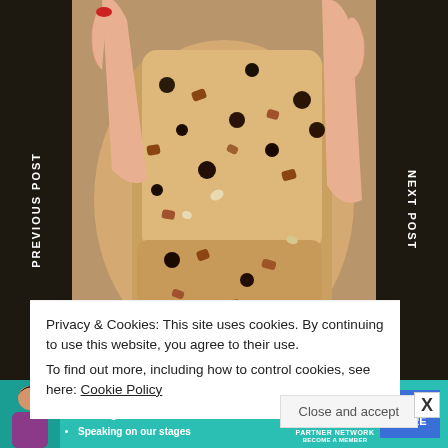[Figure (photo): Close-up photo of sliced fruitcake held in hands, showing fruit and nut pieces embedded in golden-brown cake batter. Christmas decorations visible in background.]
PREVIOUS POST
NEXT POST
Privacy & Cookies: This site uses cookies. By continuing to use this website, you agree to their use.
To find out more, including how to control cookies, see here: Cookie Policy
Close and accept
[Figure (infographic): SHE Partner Network advertisement banner with person photo, bullet points: Earning site & social revenue, Traffic growth, Speaking on our stages. Logo and LEARN MORE button.]